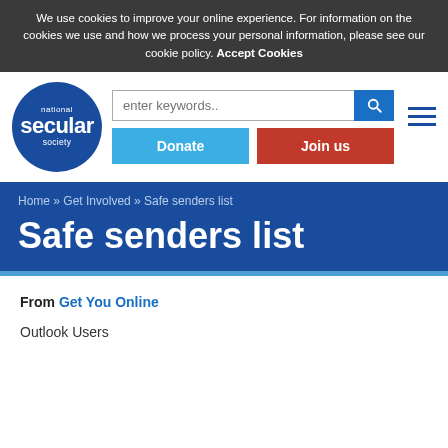We use cookies to improve your online experience. For information on the cookies we use and how we process your personal information, please see our cookie policy. Accept Cookies
[Figure (logo): National Secular Society circular blue logo with white text reading 'national secular society']
Home » Get Involved » Safe senders list
Safe senders list
From Get You Online
Outlook Users